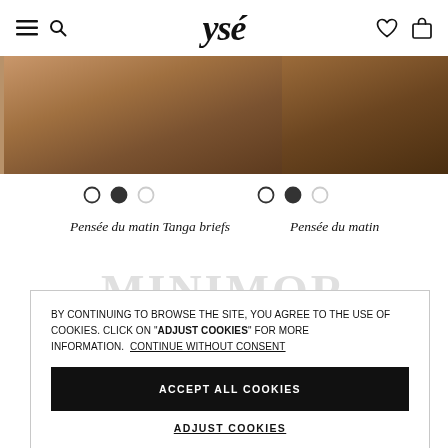ysé — navigation header with hamburger menu, search, logo, heart and bag icons
[Figure (photo): Product photography strip showing lingerie items in warm brown tones]
[Figure (other): Carousel navigation dots — left product: three dots (open, filled, open); right product: three dots (open, filled, open)]
Pensée du matin Tanga briefs
Pensée du matin
BY CONTINUING TO BROWSE THE SITE, YOU AGREE TO THE USE OF COOKIES. CLICK ON "ADJUST COOKIES" FOR MORE INFORMATION.  CONTINUE WITHOUT CONSENT
ACCEPT ALL COOKIES
ADJUST COOKIES